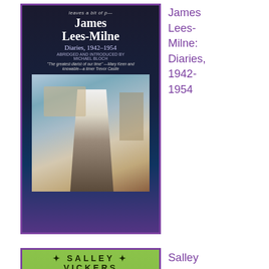[Figure (illustration): Book cover of James Lees-Milne: Diaries, 1942-1954. Dark blue/purple cover showing a man sitting at a desk writing, with bookshelves in background.]
James Lees-Milne: Diaries, 1942-1954
[Figure (illustration): Book cover of Salley Vickers: The Librarian. Green cover with ornate border showing a painting of a woman reading a book.]
Salley Vickers: The Librarian
[Figure (illustration): Book cover of David Nott: War Doctor: Surgery on the Front Line. Light blue cover with the title in green italic text.]
David Nott: War Doctor: Surgery on the